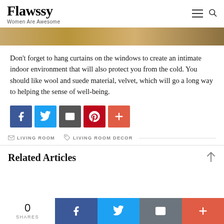Flawssy — Women Are Awesome
[Figure (photo): Partial image strip showing a wooden surface, cropped from the top]
Don't forget to hang curtains on the windows to create an intimate indoor environment that will also protect you from the cold. You should like wool and suede material, velvet, which will go a long way to helping the sense of well-being.
[Figure (infographic): Social share buttons row: Facebook, Twitter, Email, Pinterest, More (+)]
LIVING ROOM   LIVING ROOM DECOR
Related Articles
[Figure (infographic): Bottom share bar showing 0 SHARES, Facebook, Twitter, Email, More (+) buttons]